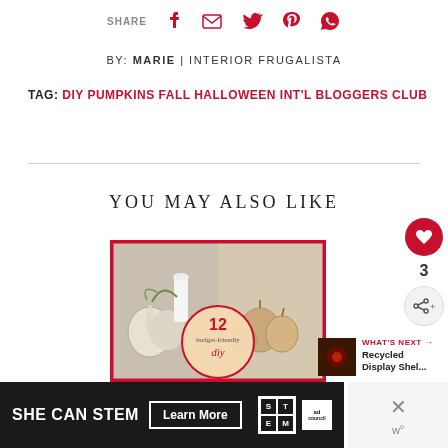SHARE [facebook] [email] [twitter] [pinterest] [whatsapp]
BY: MARIE | INTERIOR FRUGALISTA
TAG: DIY PUMPKINS FALL HALLOWEEN INT'L BLOGGERS CLUB
YOU MAY ALSO LIKE
[Figure (photo): DIY pumpkins collage image with text '12 budget-friendly diy pumpkins' overlaid on a circular badge]
WHAT'S NEXT → Recycled Display Shel...
[Figure (photo): Ad banner: SHE CAN STEM Learn More with STEM and Ad Council logos]